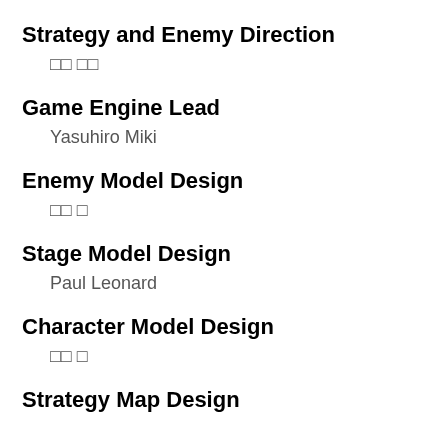Strategy and Enemy Direction
□□ □□
Game Engine Lead
Yasuhiro Miki
Enemy Model Design
□□ □
Stage Model Design
Paul Leonard
Character Model Design
□□ □
Strategy Map Design